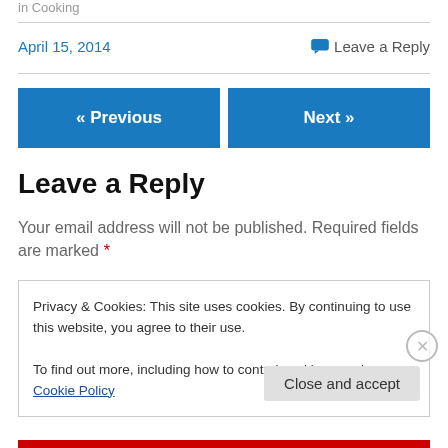in  Cooking
April 15, 2014
Leave a Reply
« Previous
Next »
Leave a Reply
Your email address will not be published. Required fields are marked *
Privacy & Cookies: This site uses cookies. By continuing to use this website, you agree to their use.
To find out more, including how to control cookies, see here: Cookie Policy
Close and accept